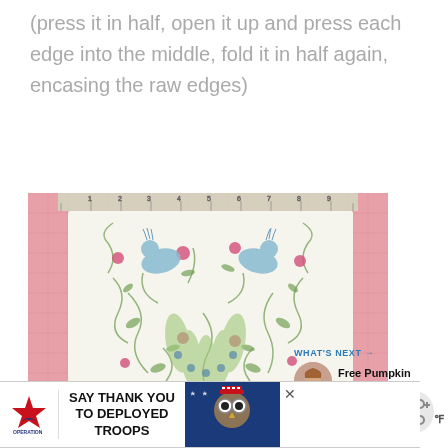(press it in half, open it up and press each edge into the middle, fold it in half again, encasing the raw edges)
[Figure (photo): A piece of fabric with a peacock and floral pattern (blue peacocks, green vines, pink roses on white background) laid flat on a pink cutting mat with ruler markings at the top.]
[Figure (infographic): Share icon button (circular grey button with share/network symbol)]
[Figure (infographic): What's Next section with a small circular thumbnail of a woman, labelled 'WHAT'S NEXT' with arrow, and text 'Free Pumpkin Spice SVG']
[Figure (infographic): Advertisement banner: Operation Gratitude logo on left, text 'SAY THANK YOU TO DEPLOYED TROOPS' in center-left, patriotic owl graphic on right, close X button]